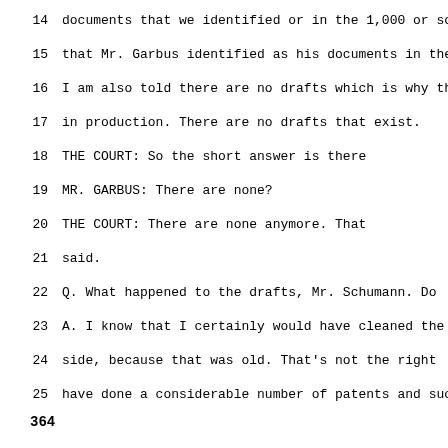14   documents that we identified or in the 1,000 or so
15   that Mr. Garbus identified as his documents in the
16   I am also told there are no drafts which is why th
17   in production.  There are no drafts that exist.
18         THE COURT:  So the short answer is there
19         MR. GARBUS:  There are none?
20         THE COURT:  There are none anymore.  That
21   said.
22   Q.  What happened to the drafts, Mr. Schumann.  Do
23   A.  I know that I certainly would have cleaned the
24   side, because that was old.  That's not the right
25   have done a considerable number of patents and suc
364